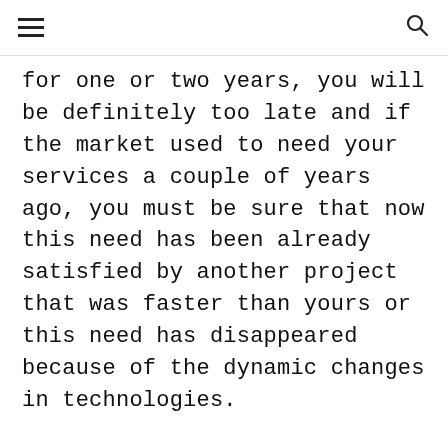for one or two years, you will be definitely too late and if the market used to need your services a couple of years ago, you must be sure that now this need has been already satisfied by another project that was faster than yours or this need has disappeared because of the dynamic changes in technologies.
Development stage